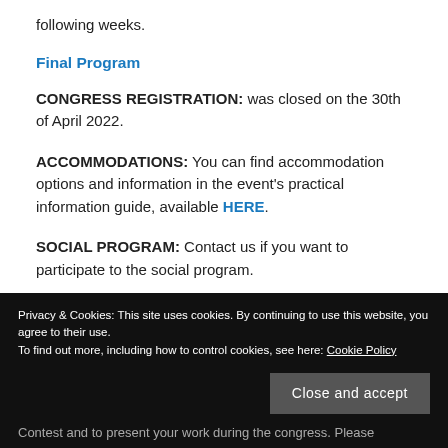following weeks.
Final Program
CONGRESS REGISTRATION: was closed on the 30th of April 2022.
ACCOMMODATIONS: You can find accommodation options and information in the event's practical information guide, available HERE.
SOCIAL PROGRAM: Contact us if you want to participate to the social program.
Privacy & Cookies: This site uses cookies. By continuing to use this website, you agree to their use.
To find out more, including how to control cookies, see here: Cookie Policy
Contest and to present your work during the congress. Please